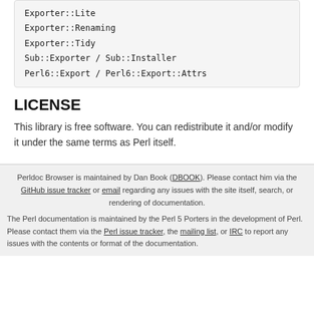Exporter::Lite
Exporter::Renaming
Exporter::Tidy
Sub::Exporter / Sub::Installer
Perl6::Export / Perl6::Export::Attrs
LICENSE
This library is free software. You can redistribute it and/or modify it under the same terms as Perl itself.
Perldoc Browser is maintained by Dan Book (DBOOK). Please contact him via the GitHub issue tracker or email regarding any issues with the site itself, search, or rendering of documentation. The Perl documentation is maintained by the Perl 5 Porters in the development of Perl. Please contact them via the Perl issue tracker, the mailing list, or IRC to report any issues with the contents or format of the documentation.